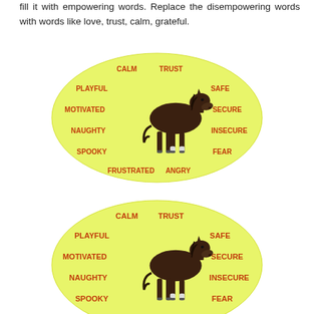fill it with empowering words. Replace the disempowering words with words like love, trust, calm, grateful.
[Figure (infographic): Yellow oval with a dark horse image in the center, surrounded by empowering and disempowering words: CALM, TRUST, PLAYFUL, SAFE, MOTIVATED, SECURE, NAUGHTY, INSECURE, SPOOKY, FEAR, FRUSTRATED, ANGRY]
[Figure (infographic): Second identical yellow oval with horse and same words, partially cropped at bottom of page]